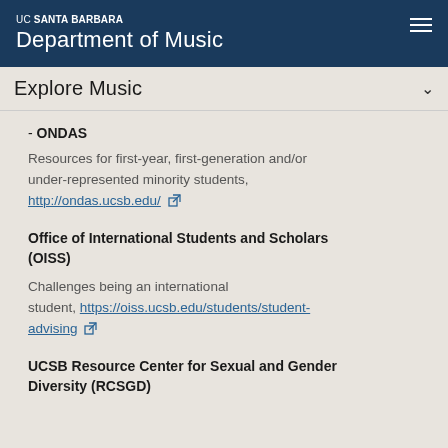UC SANTA BARBARA Department of Music
Explore Music
- ONDAS
Resources for first-year, first-generation and/or under-represented minority students, http://ondas.ucsb.edu/
Office of International Students and Scholars (OISS)
Challenges being an international student, https://oiss.ucsb.edu/students/student-advising
UCSB Resource Center for Sexual and Gender Diversity (RCSGD)